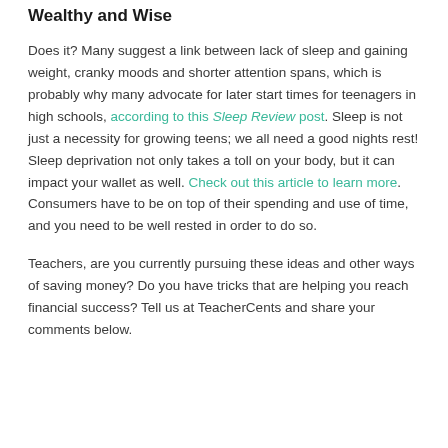Wealthy and Wise
Does it? Many suggest a link between lack of sleep and gaining weight, cranky moods and shorter attention spans, which is probably why many advocate for later start times for teenagers in high schools, according to this Sleep Review post. Sleep is not just a necessity for growing teens; we all need a good nights rest! Sleep deprivation not only takes a toll on your body, but it can impact your wallet as well. Check out this article to learn more. Consumers have to be on top of their spending and use of time, and you need to be well rested in order to do so.
Teachers, are you currently pursuing these ideas and other ways of saving money? Do you have tricks that are helping you reach financial success? Tell us at TeacherCents and share your comments below.